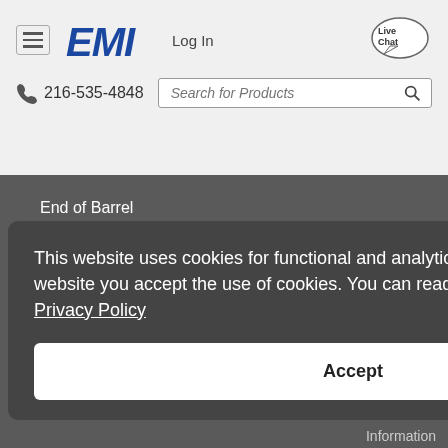[Figure (logo): EMI company logo in blue bold italic letters]
Log In
[Figure (illustration): Live Chat speech bubble icon]
216-535-4848
Search for Products
End of Barrel
Water Management
Hot Runner Control
Injection Molding Supplies
End of Arm Tooling
This website uses cookies for functional and analytical purposes. By using this website you accept the use of cookies. You can read more about it in our Privacy Policy
Accept
Information